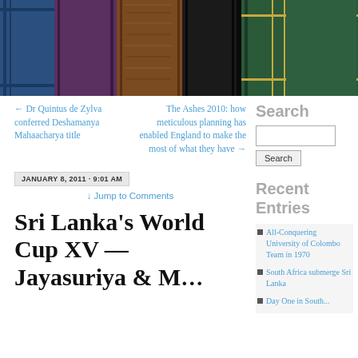[Figure (photo): Row of old books with spines visible — blue, purple, brown/tan textured, black, and green with gold trim — photographed close-up.]
← Dr Quintus de Zylva conferred Deshamanya Mahaacharya title
The Ashes 2010: how meticulous planning has enabled England to make the most of what they have →
JANUARY 8, 2011 · 9:01 AM
↓ Jump to Comments
Sri Lanka's World Cup XV — Jayasuriya & M...
Search
Recent Entries
All-Conquering University of Colombo Team in 1970
South Africa submerge Sri Lanka
Day One in South...